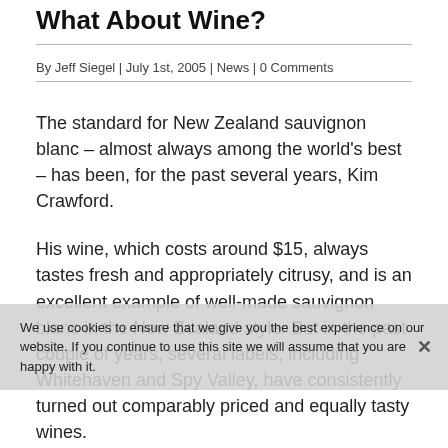What About Wine?
By Jeff Siegel | July 1st, 2005 | News | 0 Comments
The standard for New Zealand sauvignon blanc – almost always among the world's best – has been, for the past several years, Kim Crawford.
His wine, which costs around $15, always tastes fresh and appropriately citrusy, and is an excellent example of well-made sauvignon blanc in the New Zealand style. But in the past couple of years, several labels, including Whitehaven and Spy Valley, have consistently turned out comparably priced and equally tasty wines.
Why New Zealand sauvignon blanc? First is